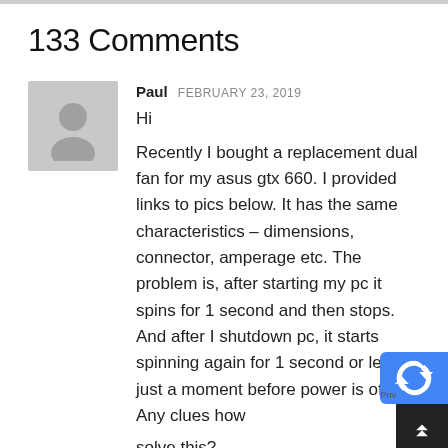133 Comments
[Figure (illustration): Generic user avatar silhouette on grey background]
Paul FEBRUARY 23, 2019
Hi
Recently I bought a replacement dual fan for my asus gtx 660. I provided links to pics below. It has the same characteristics – dimensions, connector, amperage etc. The problem is, after starting my pc it spins for 1 second and then stops. And after I shutdown pc, it starts spinning again for 1 second or less, just a moment before power is off. Any clues how to solve this?
https://www.techpowerup.com/gpu-